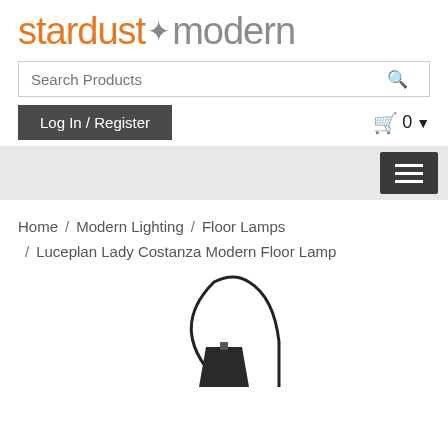[Figure (logo): Stardust Modern logo — 'stardust' in orange, diamond separator in gray, 'modern' in gray, light weight sans-serif font]
[Figure (screenshot): Search bar with placeholder text 'Search Products' and a search icon button on the right]
[Figure (screenshot): Log In / Register button (dark gray) on the left and shopping cart icon with '0' and dropdown arrow on the right]
[Figure (screenshot): Navigation bar with hamburger menu button (three horizontal lines, dark background) on the right side, gray background bar]
Home / Modern Lighting / Floor Lamps / Luceplan Lady Costanza Modern Floor Lamp
[Figure (photo): Partial product image of a floor lamp — an arched black thin metal stem with a dark conical shade, shown cropped at the bottom of the page]